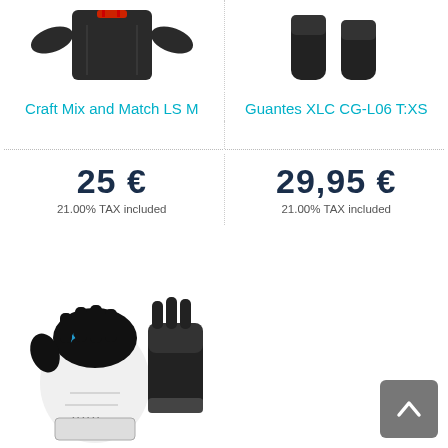[Figure (photo): Product photo of Craft Mix and Match LS M top/jersey, partially cut off at top]
[Figure (photo): Product photo of Guantes XLC CG-L06 T:XS gloves, partially cut off at top]
Craft Mix and Match LS M
Guantes XLC CG-L06 T:XS
25 €
21.00% TAX included
29,95 €
21.00% TAX included
[Figure (photo): Product photo of black and white motorcycle/cycling gloves (bottom, left column)]